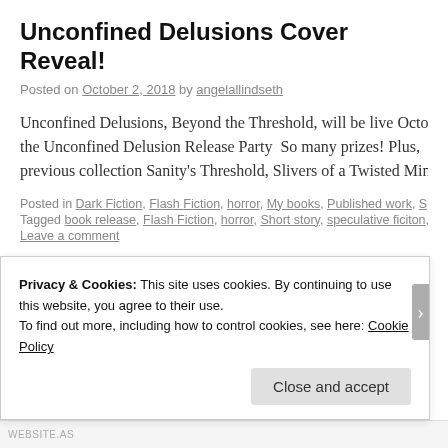Unconfined Delusions Cover Reveal!
Posted on October 2, 2018 by angelallindseth
Unconfined Delusions, Beyond the Threshold, will be live Octo… the Unconfined Delusion Release Party  So many prizes! Plus, previous collection Sanity's Threshold, Slivers of a Twisted Min…
Posted in Dark Fiction, Flash Fiction, horror, My books, Published work, Spec… Tagged book release, Flash Fiction, horror, Short story, speculative ficiton, su…
Leave a comment
South Dakota
Posted on March 10, 2018 by angelallindseth
Privacy & Cookies: This site uses cookies. By continuing to use this website, you agree to their use. To find out more, including how to control cookies, see here: Cookie Policy
Close and accept